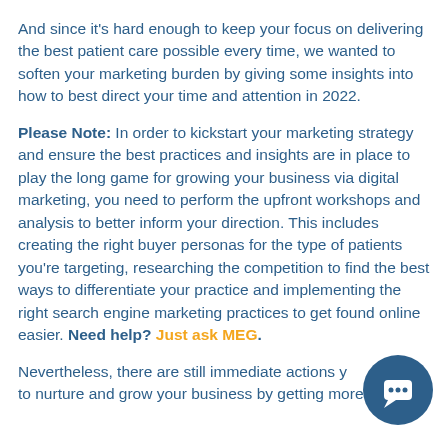And since it's hard enough to keep your focus on delivering the best patient care possible every time, we wanted to soften your marketing burden by giving some insights into how to best direct your time and attention in 2022.
Please Note: In order to kickstart your marketing strategy and ensure the best practices and insights are in place to play the long game for growing your business via digital marketing, you need to perform the upfront workshops and analysis to better inform your direction. This includes creating the right buyer personas for the type of patients you're targeting, researching the competition to find the best ways to differentiate your practice and implementing the right search engine marketing practices to get found online easier. Need help? Just ask MEG.
Nevertheless, there are still immediate actions you can take to nurture and grow your business by getting more and mo...